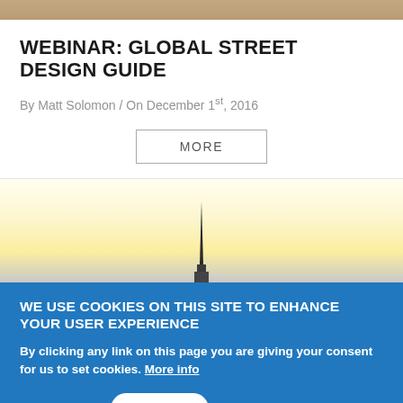[Figure (photo): Top partial image of a street scene, cropped at top]
WEBINAR: GLOBAL STREET DESIGN GUIDE
By Matt Solomon / On December 1st, 2016
MORE
[Figure (photo): Photo of a tower/spire against a bright yellow-white sky, partially shown]
WE USE COOKIES ON THIS SITE TO ENHANCE YOUR USER EXPERIENCE
By clicking any link on this page you are giving your consent for us to set cookies. More info
OK, I agree   Decline